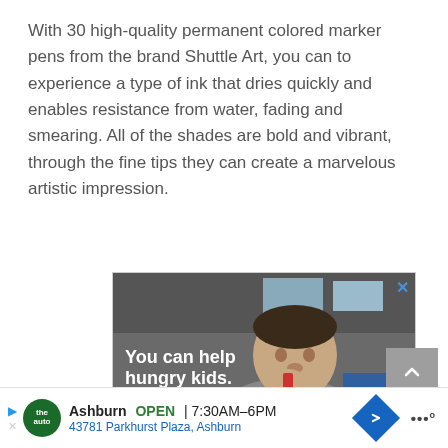With 30 high-quality permanent colored marker pens from the brand Shuttle Art, you can to experience a type of ink that dries quickly and enables resistance from water, fading and smearing. All of the shades are bold and vibrant, through the fine tips they can create a marvelous artistic impression.
[Figure (photo): Advertisement showing a young boy eating, with text overlay 'You can help hungry kids.' and an orange bar at the bottom with 'NO KID' branding. A close (X) button appears in the top-right corner.]
[Figure (infographic): Bottom banner ad showing Ashburn business listing: 'Ashburn OPEN 7:30AM-6PM, 43781 Parkhurst Plaza, Ashburn' with a tire/auto logo, blue navigation arrow, and weather widget.]